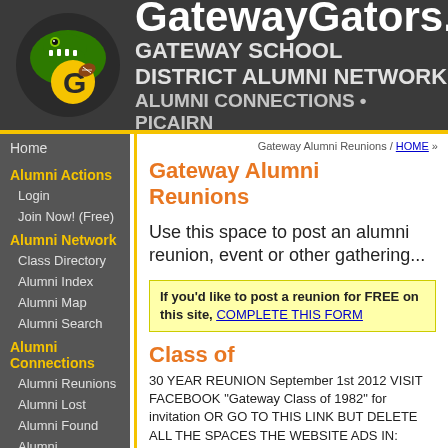GatewayGators.ne / GATEWAY SCHOOL DISTRICT ALUMNI NETWORK / ALUMNI CONNECTIONS • PICAIRN
Home
Alumni Actions
Login
Join Now! (Free)
Alumni Network
Class Directory
Alumni Index
Alumni Map
Alumni Search
Alumni Connections
Alumni Reunions
Alumni Lost
Alumni Found
Alumni Classifieds
Alumni in the News
Alumni Memorials
Gateway Alumni Reunions / HOME »
Gateway Alumni Reunions
Use this space to post an alumni reunion, event or other gathering...
If you'd like to post a reunion for FREE on this site, COMPLETE THIS FORM
Class of
30 YEAR REUNION September 1st 2012 VISIT FACEBOOK "Gateway Class of 1982" for invitation OR GO TO THIS LINK BUT DELETE ALL THE SPACES THE WEBSITE ADS IN: http://www.sheldonadvertising.com/